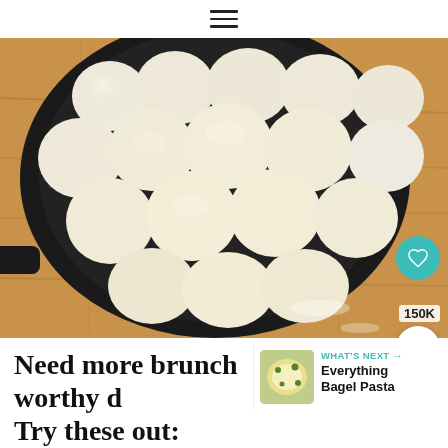≡
[Figure (photo): Dough balls arranged in a cast iron skillet on a wooden surface, with a heart/like button showing 150K likes and a share button overlay]
Need more brunch worthy d Try these out:
WHAT'S NEXT → Everything Bagel Pasta